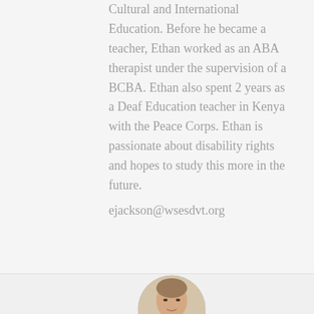Cultural and International Education. Before he became a teacher, Ethan worked as an ABA therapist under the supervision of a BCBA. Ethan also spent 2 years as a Deaf Education teacher in Kenya with the Peace Corps. Ethan is passionate about disability rights and hopes to study this more in the future.
ejackson@wsesdvt.org
[Figure (photo): Circular portrait photo of a person (Ethan Jackson) with short light brown hair, partially visible at the bottom of the page.]